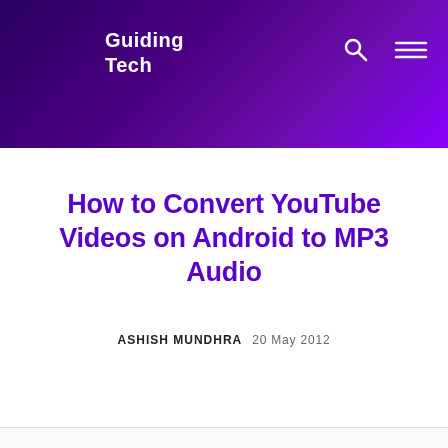Guiding Tech
How to Convert YouTube Videos on Android to MP3 Audio
ASHISH MUNDHRA  20 May 2012